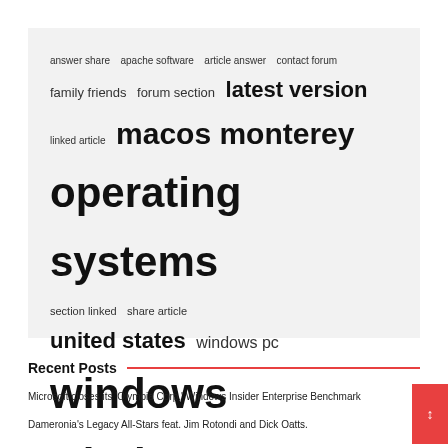[Figure (other): Tag cloud showing various terms at different font sizes indicating frequency/weight: answer share, apache software, article answer, contact forum, family friends, forum section, latest version (large), linked article, macos monterey (medium-large), operating systems (xlarge), section linked, share article, united states (large), windows pc (medium), windows windows (xxlarge)]
Recent Posts
Microsoft closes its 'Olympia Corp.' Windows Insider Enterprise Benchmark
Dameronia's Legacy All-Stars feat. Jim Rotondi and Dick Oatts.